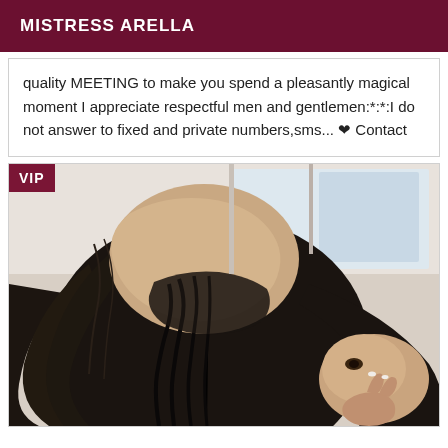MISTRESS ARELLA
quality MEETING to make you spend a pleasantly magical moment I appreciate respectful men and gentlemen:*:*:I do not answer to fixed and private numbers,sms... ❤ Contact
[Figure (photo): A woman with long dark hair wearing black lingerie, photographed from behind/side angle in a bedroom setting. A VIP badge is shown in the top-left corner of the listing card.]